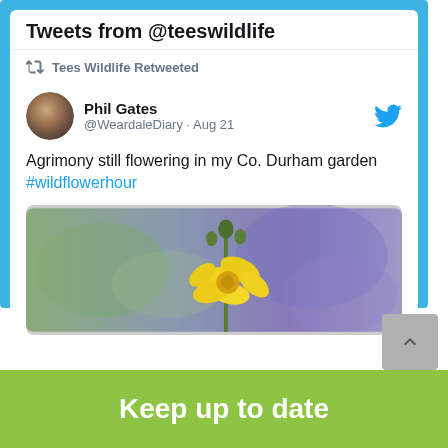Tweets from @teeswildlife
Tees Wildlife Retweeted
Phil Gates @WeardaleDiary · Aug 21
Agrimony still flowering in my Co. Durham garden #wildflowerhour
[Figure (photo): Yellow wildflower (Agrimony) in bloom against a blurred purple and green garden background]
Keep up to date